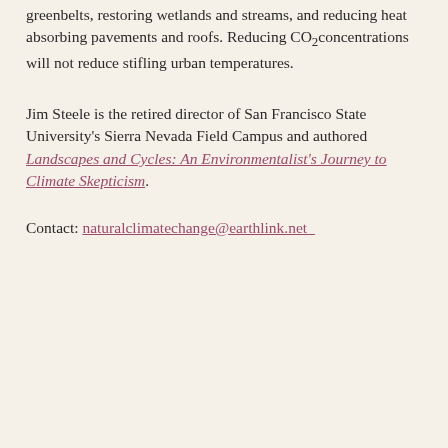greenbelts, restoring wetlands and streams, and reducing heat absorbing pavements and roofs. Reducing CO2concentrations will not reduce stifling urban temperatures.
Jim Steele is the retired director of San Francisco State University's Sierra Nevada Field Campus and authored Landscapes and Cycles: An Environmentalist's Journey to Climate Skepticism.
Contact: naturalclimatechange@earthlink.net